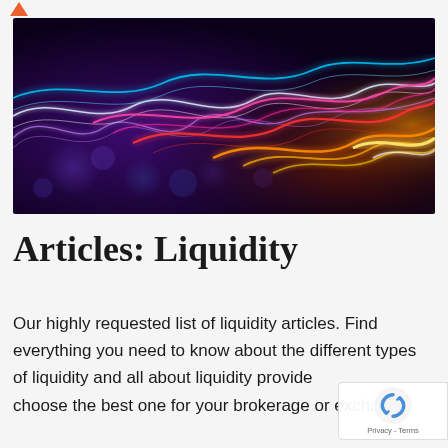[Figure (illustration): Abstract colorful glowing wave lines on dark purple/black background, with colors transitioning from purple and white on the left to cyan, pink/red, orange and gold on the right, with bokeh light effects]
Articles: Liquidity
Our highly requested list of liquidity articles. Find everything you need to know about the different types of liquidity and all about liquidity providers — choose the best one for your brokerage or exchange